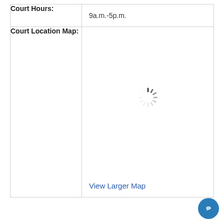|  |  |
| --- | --- |
| Court Hours: | 9a.m.-5p.m. |
| Court Location Map: | (loading spinner) View Larger Map |
[Figure (other): Loading spinner (animated circle indicator) shown in the Court Location Map cell, indicating a map is loading.]